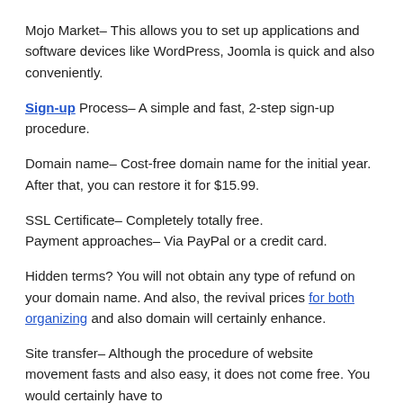Mojo Market– This allows you to set up applications and software devices like WordPress, Joomla is quick and also conveniently.
Sign-up Process– A simple and fast, 2-step sign-up procedure.
Domain name– Cost-free domain name for the initial year. After that, you can restore it for $15.99.
SSL Certificate– Completely totally free.
Payment approaches– Via PayPal or a credit card.
Hidden terms? You will not obtain any type of refund on your domain name. And also, the revival prices for both organizing and also domain will certainly enhance.
Site transfer– Although the procedure of website movement fasts and also easy, it does not come free. You would certainly have to